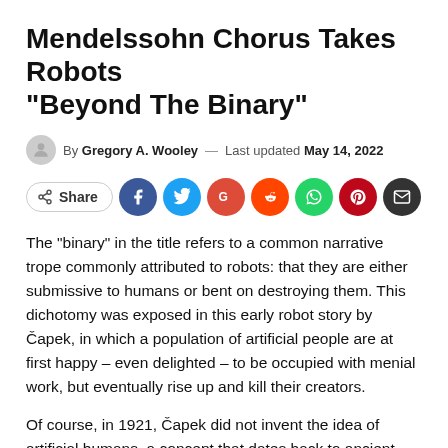Mendelssohn Chorus Takes Robots “Beyond The Binary”
By Gregory A. Wooley — Last updated May 14, 2022
[Figure (infographic): Social share buttons row: Share button, Facebook, Twitter, Google+, Reddit, WhatsApp, Pinterest, Email]
The “binary” in the title refers to a common narrative trope commonly attributed to robots: that they are either submissive to humans or bent on destroying them. This dichotomy was exposed in this early robot story by Čapek, in which a population of artificial people are at first happy – even delighted – to be occupied with menial work, but eventually rise up and kill their creators.
Of course, in 1921, Čapek did not invent the idea of artificial humans, a concept that dates back to ancient Greek, Jewish and Norse mythologies. What the playwright did in 1921 was give the...